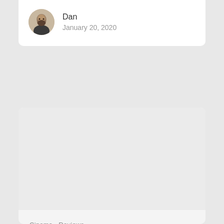[Figure (photo): Circular avatar photo of a bearded man named Dan]
Dan
January 20, 2020
[Figure (photo): Large image placeholder area, light gray, no visible content]
Cinema   Reviews
PICKS OF THE WEEK FOR 12 JAN 2019